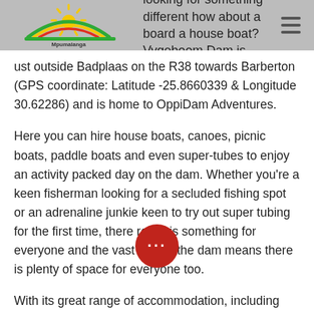looking for something different how about a board a house boat? Vygeboom Dam is ust outside Badplaas on the R38 towards Barberton (GPS coordinate: Latitude -25.8660339 & Longitude 30.62286) and is home to OppiDam Adventures.
[Figure (logo): Mpumalanga Tourism and Parks Agency logo with sun and rainbow arc]
Here you can hire house boats, canoes, picnic boats, paddle boats and even super-tubes to enjoy an activity packed day on the dam. Whether you’re a keen fisherman looking for a secluded fishing spot or an adrenaline junkie keen to try out super tubing for the first time, there really is something for everyone and the vast size of the dam means there is plenty of space for everyone too.
With its great range of accommodation, including house boats, dam houses, caravans and camp sites, and limitless activities, Vygeboom dam really does